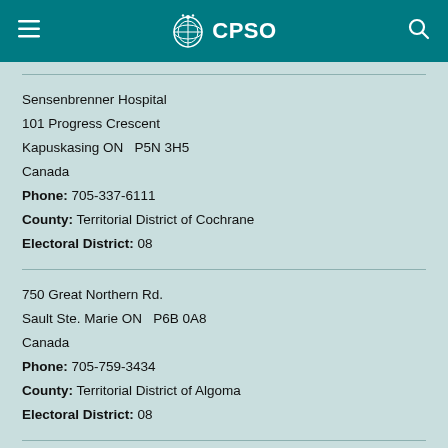CPSO
Sensenbrenner Hospital
101 Progress Crescent
Kapuskasing ON  P5N 3H5
Canada
Phone: 705-337-6111
County: Territorial District of Cochrane
Electoral District: 08
750 Great Northern Rd.
Sault Ste. Marie ON  P6B 0A8
Canada
Phone: 705-759-3434
County: Territorial District of Algoma
Electoral District: 08